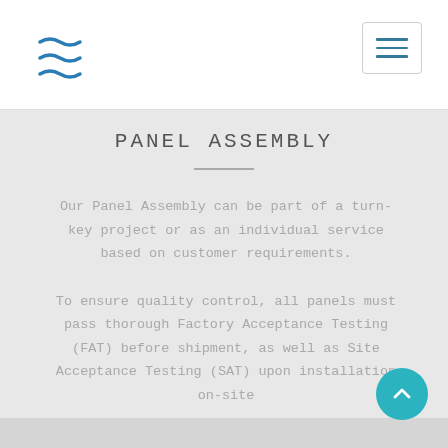[Figure (logo): Three tilde/wave lines in blue, stacked vertically, forming a logo]
[Figure (other): Hamburger menu icon - three horizontal lines in a bordered box]
PANEL ASSEMBLY
Our Panel Assembly can be part of a turn-key project or as an individual service based on customer requirements. To ensure quality control, all panels must pass thorough Factory Acceptance Testing (FAT) before shipment, as well as Site Acceptance Testing (SAT) upon installation on-site